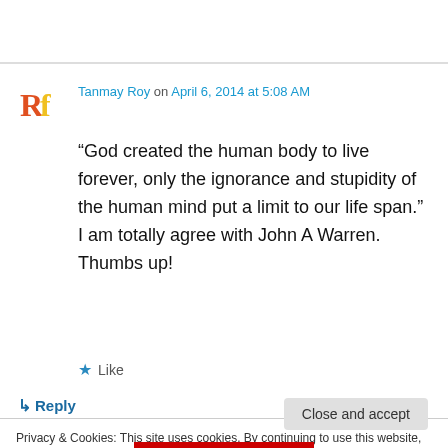Tanmay Roy on April 6, 2014 at 5:08 AM
“God created the human body to live forever, only the ignorance and stupidity of the human mind put a limit to our life span.” I am totally agree with John A Warren. Thumbs up!
★ Like
↳ Reply
Privacy & Cookies: This site uses cookies. By continuing to use this website, you agree to their use.
To find out more, including how to control cookies, see here: Cookie Policy
Close and accept